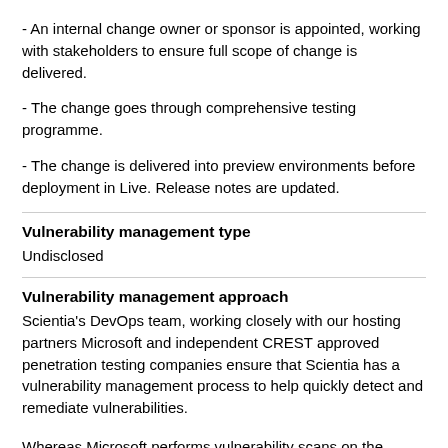- An internal change owner or sponsor is appointed, working with stakeholders to ensure full scope of change is delivered.
- The change goes through comprehensive testing programme.
- The change is delivered into preview environments before deployment in Live. Release notes are updated.
Vulnerability management type
Undisclosed
Vulnerability management approach
Scientia's DevOps team, working closely with our hosting partners Microsoft and independent CREST approved penetration testing companies ensure that Scientia has a vulnerability management process to help quickly detect and remediate vulnerabilities.
Whereas Microsoft performs vulnerability scans on the